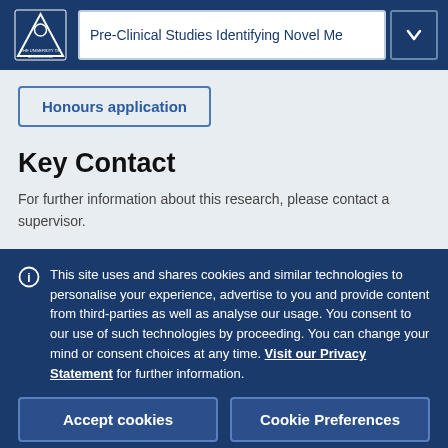Pre-Clinical Studies Identifying Novel Me
Honours application
Key Contact
For further information about this research, please contact a supervisor.
This site uses and shares cookies and similar technologies to personalise your experience, advertise to you and provide content from third-parties as well as analyse our usage. You consent to our use of such technologies by proceeding. You can change your mind or consent choices at any time. Visit our Privacy Statement for further information.
Accept cookies
Cookie Preferences